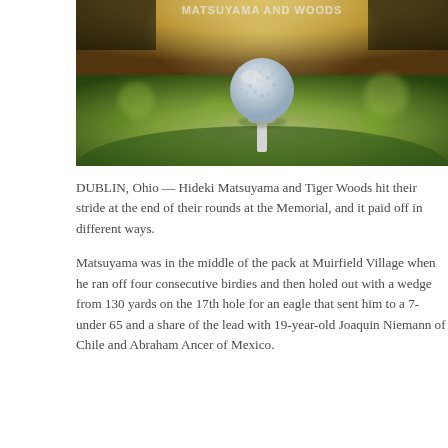[Figure (photo): Close-up photograph of a white golf ball resting on a white tee, set against a bokeh background of green grass fairway with warm golden light. Bright text partially visible at the top edge of the image.]
DUBLIN, Ohio — Hideki Matsuyama and Tiger Woods hit their stride at the end of their rounds at the Memorial, and it paid off in different ways.
Matsuyama was in the middle of the pack at Muirfield Village when he ran off four consecutive birdies and then holed out with a wedge from 130 yards on the 17th hole for an eagle that sent him to a 7-under 65 and a share of the lead with 19-year-old Joaquin Niemann of Chile and Abraham Ancer of Mexico.